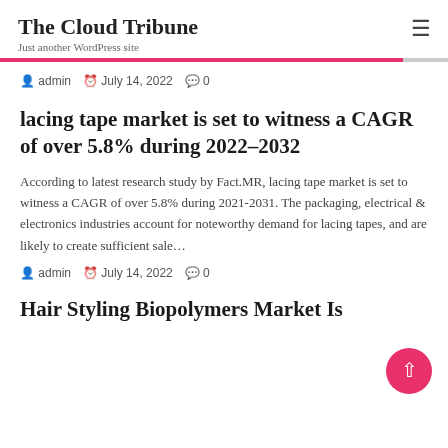The Cloud Tribune
Just another WordPress site
admin  July 14, 2022  0
lacing tape market is set to witness a CAGR of over 5.8% during 2022–2032
According to latest research study by Fact.MR, lacing tape market is set to witness a CAGR of over 5.8% during 2021-2031. The packaging, electrical & electronics industries account for noteworthy demand for lacing tapes, and are likely to create sufficient sale…
admin  July 14, 2022  0
Hair Styling Biopolymers Market Is